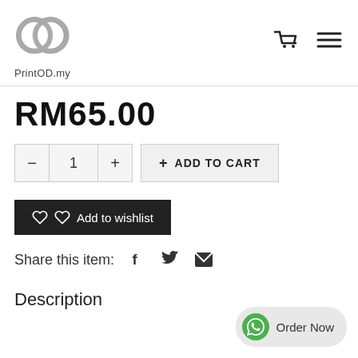[Figure (logo): PrintOD.my logo — two overlapping circles forming a 'pd' monogram in gray, with text 'PrintOD.my' below]
RM65.00
- 1 +  + ADD TO CART
♡ ♡  Add to wishlist
Share this item:  f  (twitter)  (email)
Description
Order Now